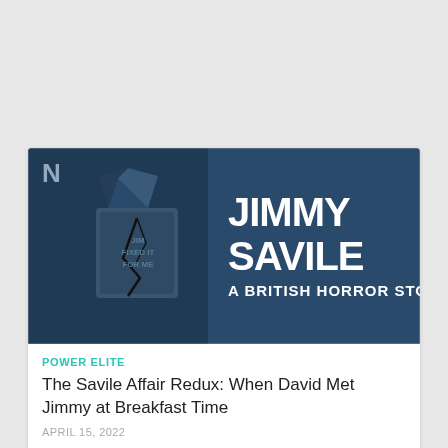[Figure (photo): Netflix promotional banner/thumbnail for 'Jimmy Savile: A British Horror Story'. Dark blue background showing a cracked 'Jim Fixed It For Me' medal/badge on the left, and large white bold text reading 'JIMMY SAVILE A BRITISH HORROR STORY' on the right. Netflix 'N' logo visible in upper left corner.]
POWER ELITE
The Savile Affair Redux: When David Met Jimmy at Breakfast Time
APRIL 15, 2022